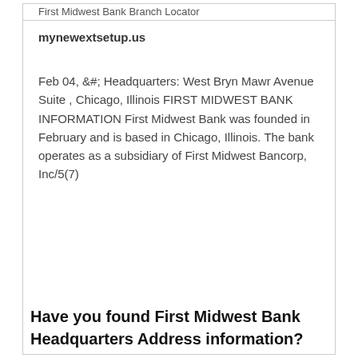First Midwest Bank Branch Locator
mynewextsetup.us
Feb 04,  &# Headquarters: West Bryn Mawr Avenue Suite , Chicago, Illinois FIRST MIDWEST BANK INFORMATION First Midwest Bank was founded in February and is based in Chicago, Illinois. The bank operates as a subsidiary of First Midwest Bancorp, Inc/5(7)
Have you found First Midwest Bank Headquarters Address information?